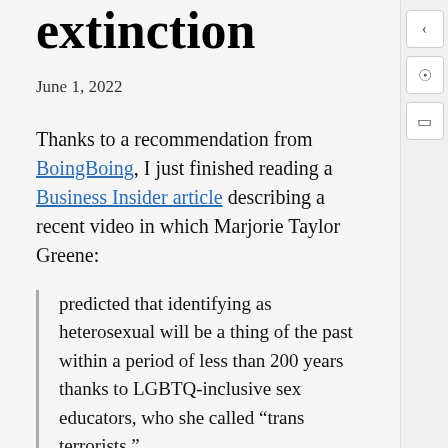extinction
June 1, 2022
Thanks to a recommendation from BoingBoing, I just finished reading a Business Insider article describing a recent video in which Marjorie Taylor Greene:
predicted that identifying as heterosexual will be a thing of the past within a period of less than 200 years thanks to LGBTQ-inclusive sex educators, who she called “trans terrorists.”